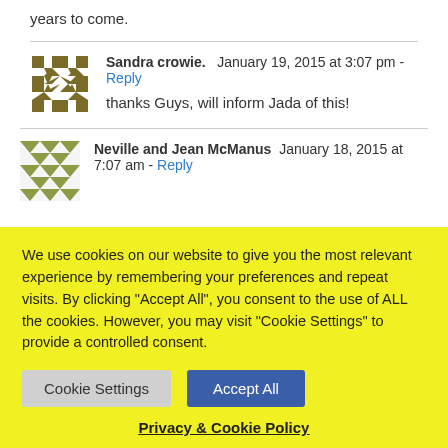years to come.
Sandra crowie.  January 19, 2015 at 3:07 pm - Reply
thanks Guys, will inform Jada of this!
Neville and Jean McManus  January 18, 2015 at 7:07 am - Reply
We use cookies on our website to give you the most relevant experience by remembering your preferences and repeat visits. By clicking "Accept All", you consent to the use of ALL the cookies. However, you may visit "Cookie Settings" to provide a controlled consent.
Cookie Settings  Accept All
Privacy & Cookie Policy